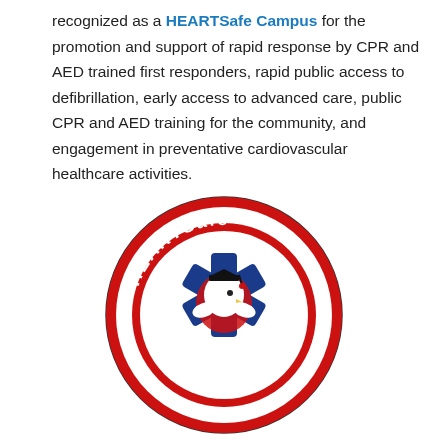recognized as a HEARTSafe Campus for the promotion and support of rapid response by CPR and AED trained first responders, rapid public access to defibrillation, early access to advanced care, public CPR and AED training for the community, and engagement in preventative cardiovascular healthcare activities.
[Figure (logo): HEARTSafe Campus circular logo. Red circle with white border ring. 'HEARTSafe' text arcs along the top in white. 'CAMPUS' text arcs along the bottom in white. Center white circle contains a blue Star of Life symbol with a mascot eagle head wearing a graduation cap overlaid in red and white.]